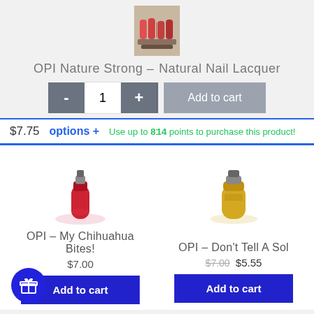[Figure (photo): OPI Nature Strong Natural Nail Lacquer product display image]
OPI Nature Strong – Natural Nail Lacquer
- 1 + Add to cart
$7.75  options +  Use up to 814 points to purchase this product!
[Figure (photo): OPI My Chihuahua Bites nail polish bottle, red color]
[Figure (photo): OPI Don't Tell A Sol nail polish bottle, yellow color]
OPI – My Chihuahua Bites!
$7.00
OPI – Don't Tell A Sol
$7.00 $5.55
Add to cart
Add to cart